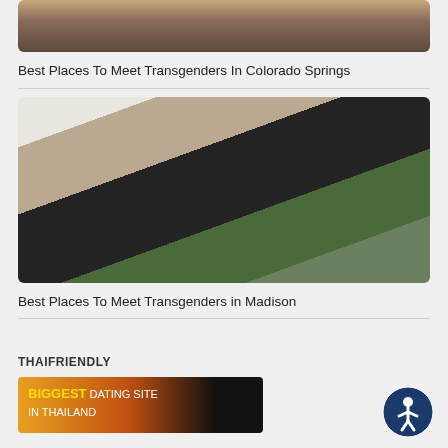[Figure (photo): Top portion of a photo showing two people, partially cropped]
Best Places To Meet Transgenders In Colorado Springs
[Figure (photo): Photo of a woman in black lingerie standing near a piano and a man seated at the piano in an elegant room with shelving and plants]
Best Places To Meet Transgenders in Madison
THAIFRIENDLY
[Figure (photo): Banner advertisement for biggest dating site in Thailand, with orange and dark background]
[Figure (illustration): Accessibility icon button (person in circle)]